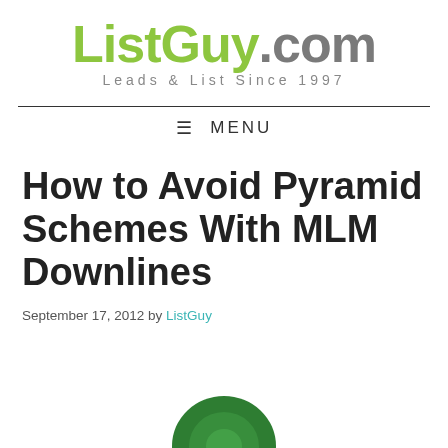[Figure (logo): ListGuy.com logo with tagline 'Leads & List Since 1997']
≡ MENU
How to Avoid Pyramid Schemes With MLM Downlines
September 17, 2012 by ListGuy
[Figure (photo): Partial circular green image at bottom center of page]